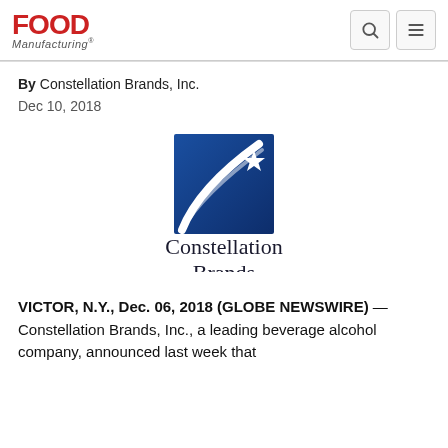Food Manufacturing
By Constellation Brands, Inc.
Dec 10, 2018
[Figure (logo): Constellation Brands logo: dark blue square with white swoosh arc and star, text 'Constellation Brands' below in serif font]
VICTOR, N.Y., Dec. 06, 2018 (GLOBE NEWSWIRE) — Constellation Brands, Inc., a leading beverage alcohol company, announced last week that